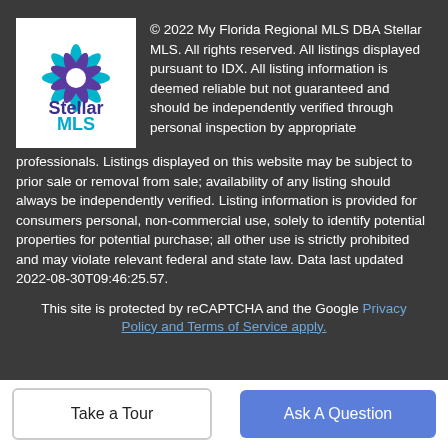[Figure (logo): Stellar MLS logo: decorative star/flower shape in purple and teal with 'Stellar MLS' text below]
© 2022 My Florida Regional MLS DBA Stellar MLS. All rights reserved. All listings displayed pursuant to IDX. All listing information is deemed reliable but not guaranteed and should be independently verified through personal inspection by appropriate professionals. Listings displayed on this website may be subject to prior sale or removal from sale; availability of any listing should always be independently verified. Listing information is provided for consumers personal, non-commercial use, solely to identify potential properties for potential purchase; all other use is strictly prohibited and may violate relevant federal and state law. Data last updated 2022-08-30T09:46:25.57.
This site is protected by reCAPTCHA and the Google Privacy Policy and Terms of Service apply.